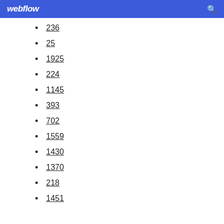webflow
236
25
1925
224
1145
393
702
1559
1430
1370
218
1451